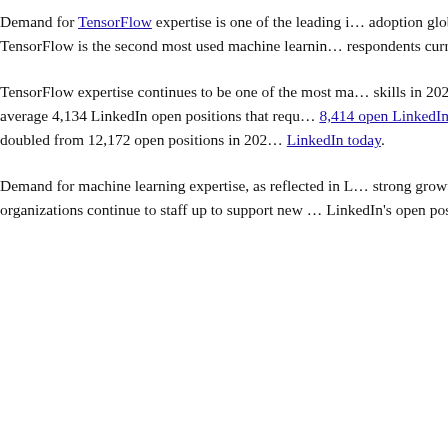operationalize AI — up from fewer than 10% in 20... Gartner.
Demand for TensorFlow expertise is one of the leading indicators of its adoption globally. Kaggle's State of Data Science and M... that TensorFlow is the second most used machine learning... respondents currently using it.
TensorFlow expertise continues to be one of the most ma... skills in 2021, making it a reliable leading indicator of te... were on average 4,134 LinkedIn open positions that requ... 8,414 open LinkedIn positions this year in the U.S. alone... expertise has doubled from 12,172 open positions in 202... LinkedIn today.
Demand for machine learning expertise, as reflected in L... strong growth. Increasing from 44,864 available jobs in ... alone, organizations continue to staff up to support new ... LinkedIn's open positions requiring machine-learning ex... 191,749 in 2021.